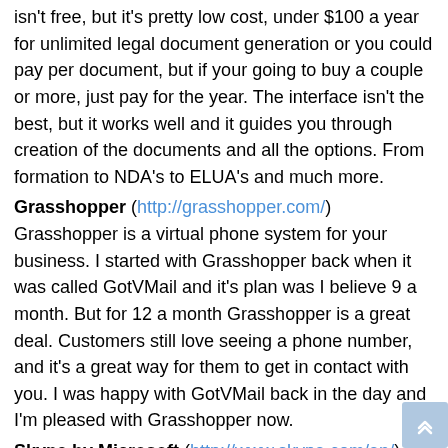isn't free, but it's pretty low cost, under $100 a year for unlimited legal document generation or you could pay per document, but if your going to buy a couple or more, just pay for the year. The interface isn't the best, but it works well and it guides you through creation of the documents and all the options. From formation to NDA's to ELUA's and much more.
Grasshopper (http://grasshopper.com/)
Grasshopper is a virtual phone system for your business. I started with Grasshopper back when it was called GotVMail and it's plan was I believe 9 a month. But for 12 a month Grasshopper is a great deal. Customers still love seeing a phone number, and it's a great way for them to get in contact with you. I was happy with GotVMail back in the day and I'm pleased with Grasshopper now.
Skype by Microsoft (http://www.skype.com/en/)
Here at Resgrid we use Skype for everything, virtual team meetings, IM'ing back and forth, file transfers and contacting our customers, all for just under $10 a month.